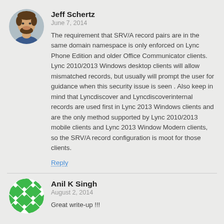Jeff Schertz
June 7, 2014
The requirement that SRV/A record pairs are in the same domain namespace is only enforced on Lync Phone Edition and older Office Communicator clients. Lync 2010/2013 Windows desktop clients will allow mismatched records, but usually will prompt the user for guidance when this security issue is seen . Also keep in mind that Lyncdiscover and Lyncdiscoverinternal records are used first in Lync 2013 Windows clients and are the only method supported by Lync 2010/2013 mobile clients and Lync 2013 Window Modern clients, so the SRV/A record configuration is moot for those clients.
Reply
Anil K Singh
August 2, 2014
Great write-up !!!